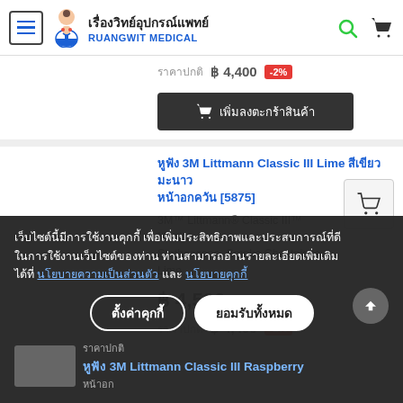เรื่องวิทย์อุปกรณ์แพทย์ RUANGWIT MEDICAL
ราคาปกติ ฿ 4,400 -2%
เพิ่มลงตะกร้า
หูฟัง 3M Littmann Classic III Lime สีเขียว หน้าอก [5875]
3M™ Littmann® Classic III™ Monitoring Stethoscope, Smoke Chestpiece, Lime
฿ 4,500
ราคาปกติ ฿ 4,400 -2%
เว็บไซต์นี้มีการใช้งานคุกกี้ เพื่อเพิ่มประสิทธิภาพและประสบการณ์ที่ดีในการใช้งานเว็บไซต์ของท่าน ท่านสามารถอ่านรายละเอียดเพิ่มเติมได้ที่ นโยบายความเป็นส่วนตัว และ นโยบายคุกกี้
ตั้งค่าคุกกี้
ยอมรับทั้งหมด
หูฟัง 3M Littmann Classic III Raspberry